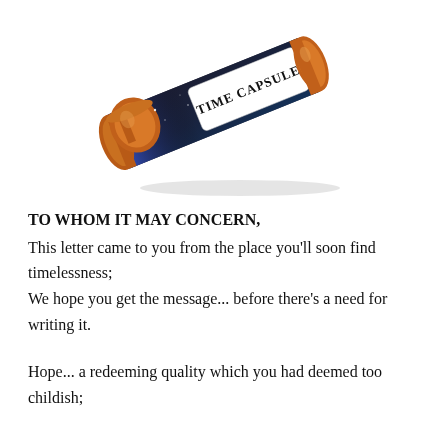[Figure (illustration): A cylindrical time capsule tube with copper/orange end caps, lying diagonally. The tube has a dark starry/space-themed body with a white label reading 'TIME CAPSULE' in serif font. The left cap is detached and resting beside the tube.]
TO WHOM IT MAY CONCERN,
This letter came to you from the place you'll soon find timelessness;
We hope you get the message... before there's a need for writing it.

Hope... a redeeming quality which you had deemed too childish;